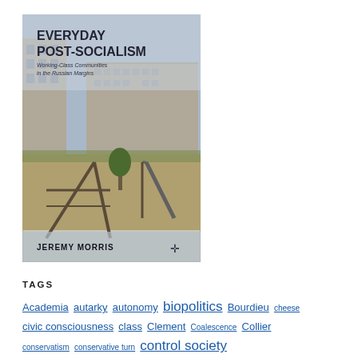[Figure (illustration): Book cover of 'Everyday Post-Socialism: Working-Class Communities in the Russian Margins' by Jeremy Morris, published by Palgrave Macmillan. Cover shows a photograph of a Soviet-era playground with a slide and climbing frame in front of residential apartment blocks.]
TAGS
Academia autarky autonomy biopolitics Bourdieu cheese civic consciousness class Clement Coalescence Collier conservatism conservative turn control society